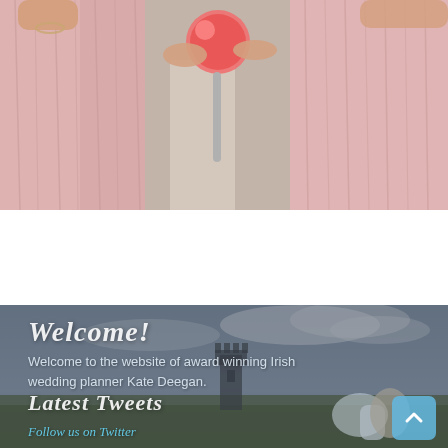[Figure (photo): Photo of people in pink/blush dresses holding props including a red ball prop with a stick, shot from waist down showing dresses and hands]
Welcome!
Welcome to the website of award winning Irish wedding planner Kate Deegan.
Latest Tweets
Follow us on Twitter
[Figure (photo): Background photo of Irish countryside with castle tower silhouette, dramatic cloudy sky, and a bride and groom couple sitting in a field]